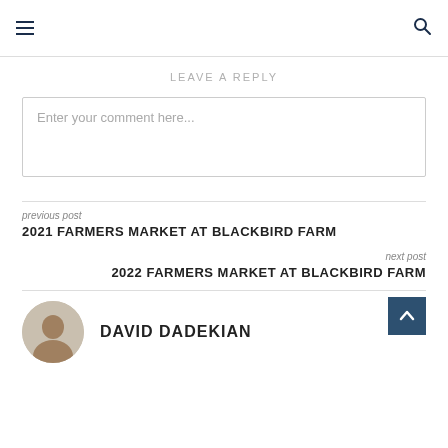LEAVE A REPLY
Enter your comment here...
previous post
2021 FARMERS MARKET AT BLACKBIRD FARM
next post
2022 FARMERS MARKET AT BLACKBIRD FARM
DAVID DADEKIAN